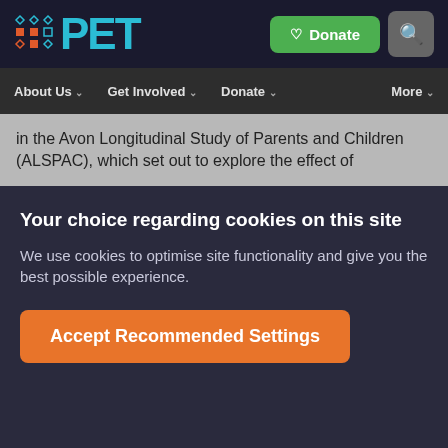PET — Donate | Search | About Us | Get Involved | Donate | More
in the Avon Longitudinal Study of Parents and Children (ALSPAC), which set out to explore the effect of
Your choice regarding cookies on this site
We use cookies to optimise site functionality and give you the best possible experience.
Accept Recommended Settings
Cookie Preferences